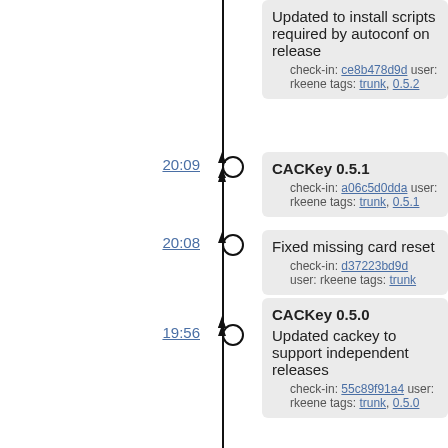Updated to install scripts required by autoconf on release
check-in: ce8b478d9d user: rkeene tags: trunk, 0.5.2
20:09
CACKey 0.5.1
check-in: a06c5d0dda user: rkeene tags: trunk, 0.5.1
20:08
Fixed missing card reset
check-in: d37223bd9d user: rkeene tags: trunk
19:56
CACKey 0.5.0
Updated cackey to support independent releases
check-in: 55c89f91a4 user: rkeene tags: trunk, 0.5.0
18:30
Updated to use MAKE environment variable as make command, if present
Updated to autogen cackey
check-in: 4688f0e933 user: rkeene tags: trunk
17:58
Fixed issue with signing wrong data
check-in: d76d28b0e0 user: rkeene tags: trunk